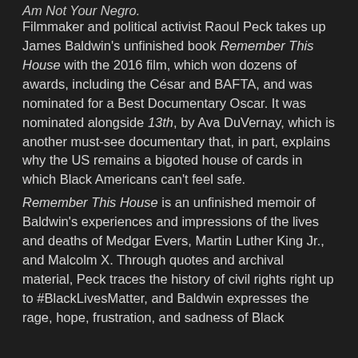Am Not Your Negro.
Filmmaker and political activist Raoul Peck takes up James Baldwin's unfinished book Remember This House with the 2016 film, which won dozens of awards, including the César and BAFTA, and was nominated for a Best Documentary Oscar. It was nominated alongside 13th, by Ava DuVernay, which is another must-see documentary that, in part, explains why the US remains a bigoted house of cards in which Black Americans can't feel safe.
Remember This House is an unfinished memoir of Baldwin's experiences and impressions of the lives and deaths of Medgar Evers, Martin Luther King Jr., and Malcolm X. Through quotes and archival material, Peck traces the history of civil rights right up to #BlackLivesMatter, and Baldwin expresses the rage, hope, frustration, and sadness of Black